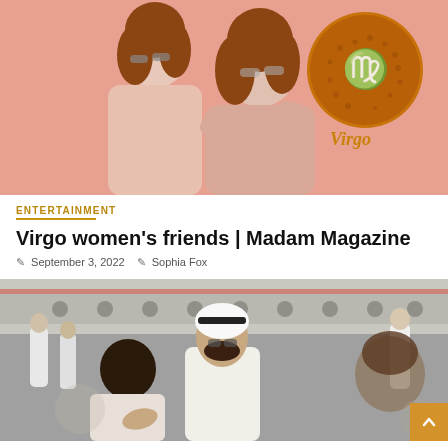[Figure (photo): Two women in pink/blush outfits posing together on a pink background, with a circular Virgo zodiac symbol in the top right corner showing the Virgo glyph and the word 'Virgo' in gold script]
ENTERTAINMENT
Virgo women's friends | Madam Magazine
September 3, 2022   Sophia Fox
[Figure (photo): An Arab man in traditional white thobe and black headband/igal leaning over, looking at something, surrounded by other people in an indoor setting resembling an exhibition hall or event]